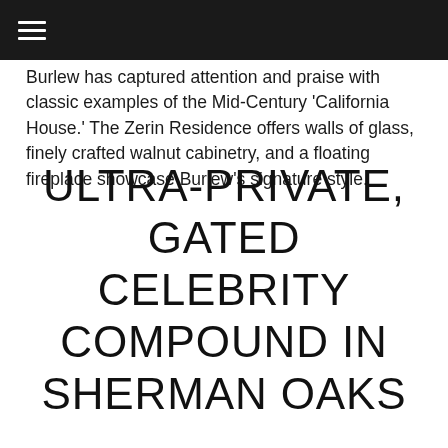≡
Burlew has captured attention and praise with classic examples of the Mid-Century 'California House.' The Zerin Residence offers walls of glass, finely crafted walnut cabinetry, and a floating fireplace showcase Burlew's signature style.
ULTRA-PRIVATE, GATED CELEBRITY COMPOUND IN SHERMAN OAKS